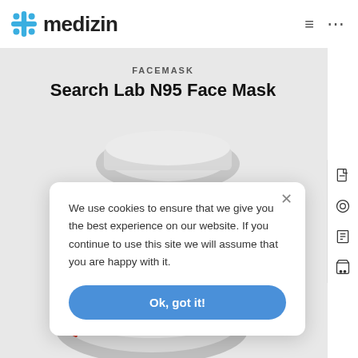medizin
FACEMASK
Search Lab N95 Face Mask
[Figure (screenshot): N95 face mask product image with red straps on grey background, with 12% Off yellow badge]
We use cookies to ensure that we give you the best experience on our website. If you continue to use this site we will assume that you are happy with it.
Ok, got it!